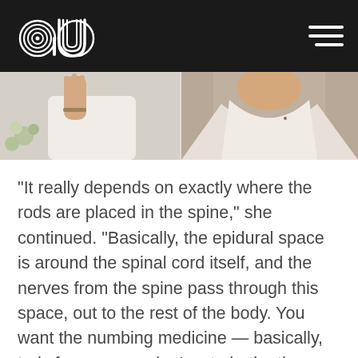au [logo] [hamburger menu]
[Figure (photo): Two-panel photo strip: left panel shows a person in white clothing raising their hand with flowers visible, right panel shows the back/neckline of a person in white clothing.]
"It really depends on exactly where the rods are placed in the spine," she continued. "Basically, the epidural space is around the spinal cord itself, and the nerves from the spine pass through this space, out to the rest of the body. You want the numbing medicine — basically, truly fancy novocaine! — to bathe the nerves as they pass through this space